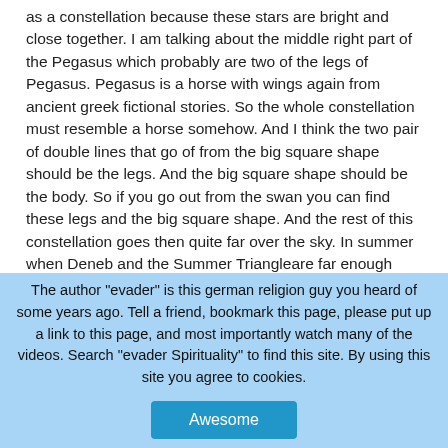as a constellation because these stars are bright and close together. I am talking about the middle right part of the Pegasus which probably are two of the legs of Pegasus. Pegasus is a horse with wings again from ancient greek fictional stories. So the whole constellation must resemble a horse somehow. And I think the two pair of double lines that go of from the big square shape should be the legs. And the big square shape should be the body. So if you go out from the swan you can find these legs and the big square shape. And the rest of this constellation goes then quite far over the sky. In summer when Deneb and the Summer Triangleare far enough gone from east to west so that there is enough space for Pegasus then you will find it. Try to go to Deneb in the Swan, by the way Deneb marks the tail of the Swan, and
The author "evader" is this german religion guy you heard of some years ago. Tell a friend, bookmark this page, please put up a link to this page, and most importantly watch many of the videos. Search "evader Spirituality" to find this site. By using this site you agree to cookies. Awesome